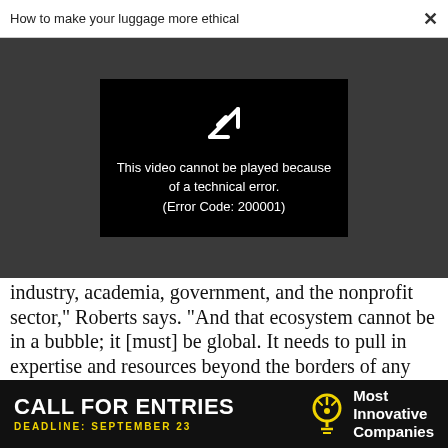How to make your luggage more ethical
[Figure (screenshot): Video player showing error: This video cannot be played because of a technical error. (Error Code: 200001)]
industry, academia, government, and the nonprofit sector," Roberts says. "And that ecosystem cannot be in a bubble; it [must] be global. It needs to pull in expertise and resources beyond the borders of any one state or any one country. And Indiana has built that."
[Figure (infographic): Advertisement banner: CALL FOR ENTRIES, DEADLINE: SEPTEMBER 23, Most Innovative Companies]